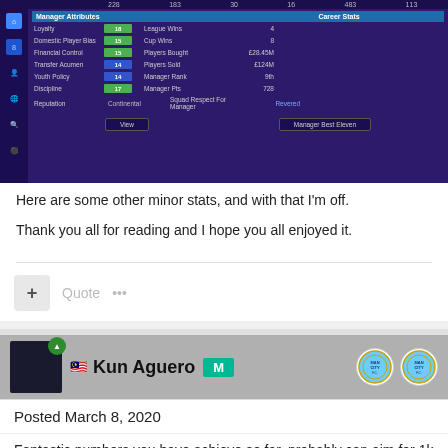[Figure (screenshot): Football Manager game screenshot showing Manager Attributes (Loyalty 18, Domestic Player Bias 15, Financial Control 15, Transfer Acumen 14, Youth Policy 14, Discipline 17, Reputation Continental) and Career Stats (League Wins 4, Cup Wins 8, Players Bought £28.45M, Players Sold £124M, Manager Rank 9th, Manager Pts 728, Squad Respect For Manager Revered) with View and Manager Best Eleven buttons]
Here are some other minor stats, and with that I'm off.
Thank you all for reading and I hope you all enjoyed it.
Quote
Kun Aguero
Posted March 8, 2020
Fantastic numbers you have achieve so far, probably can aim for 1k